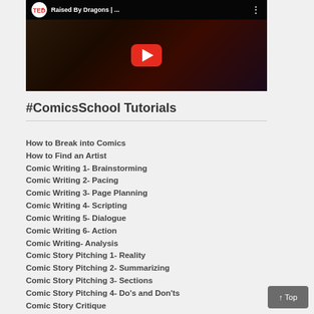[Figure (screenshot): YouTube video thumbnail showing TEDx talk titled 'Raised By Dragons | ...' with a red play button in the center and a speaker on a dark stage]
#ComicsSchool Tutorials
How to Break into Comics
How to Find an Artist
Comic Writing 1- Brainstorming
Comic Writing 2- Pacing
Comic Writing 3- Page Planning
Comic Writing 4- Scripting
Comic Writing 5- Dialogue
Comic Writing 6- Action
Comic Writing- Analysis
Comic Story Pitching 1- Reality
Comic Story Pitching 2- Summarizing
Comic Story Pitching 3- Sections
Comic Story Pitching 4- Do's and Don'ts
Comic Story Critique
Comic Pitch Critique
Comic Art Portfolio Critique
Comic Art- Coloring
Comic Inking Critique
Comic Q&A: Question Round-Up